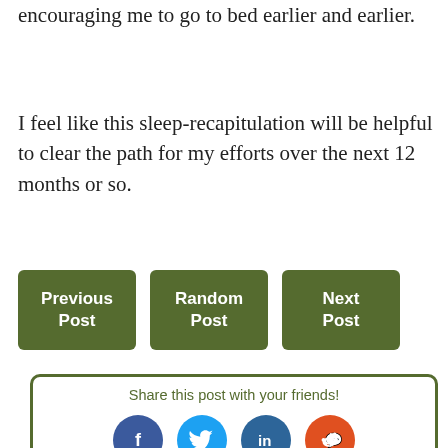encouraging me to go to bed earlier and earlier.
I feel like this sleep-recapitulation will be helpful to clear the path for my efforts over the next 12 months or so.
Previous Post
Random Post
Next Post
Share this post with your friends!